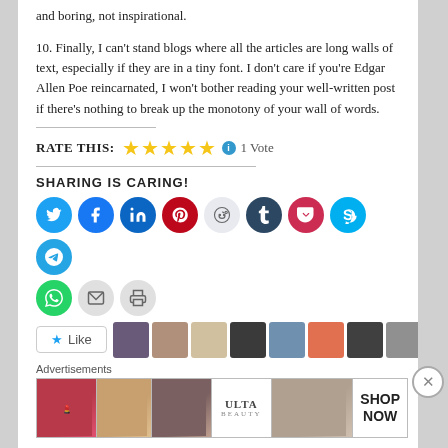and boring, not inspirational.
10. Finally, I can't stand blogs where all the articles are long walls of text, especially if they are in a tiny font. I don't care if you're Edgar Allen Poe reincarnated, I won't bother reading your well-written post if there's nothing to break up the monotony of your wall of words.
RATE THIS: ★★★★★ ℹ 1 Vote
SHARING IS CARING!
[Figure (infographic): Social sharing buttons: Twitter, Facebook, LinkedIn, Pinterest, Reddit, Tumblr, Pocket, Skype, Telegram, WhatsApp, Email, Print]
[Figure (infographic): Like button and avatar strip with user profile images]
Advertisements
[Figure (infographic): Beauty/makeup advertisement banner for ULTA with SHOP NOW call to action]